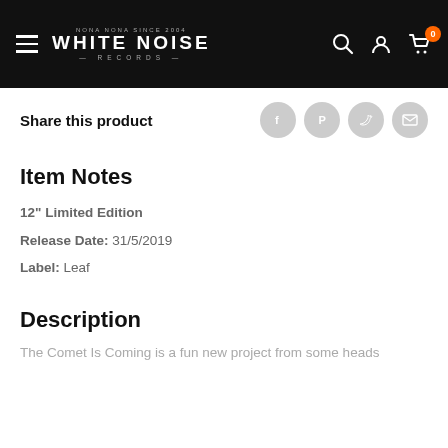WHITE NOISE RECORDS
Share this product
Item Notes
12" Limited Edition
Release Date: 31/5/2019
Label: Leaf
Description
The Comet Is Coming is a fun new project from some heads